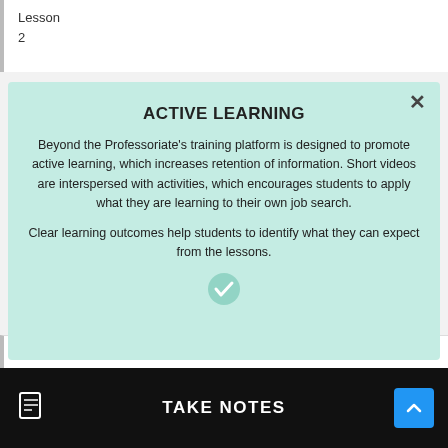Lesson
2
[Figure (screenshot): Modal popup with light green background showing 'ACTIVE LEARNING' content, with faded background text 'What do you do?' and 'What motivates you?']
ACTIVE LEARNING
Beyond the Professoriate's training platform is designed to promote active learning, which increases retention of information. Short videos are interspersed with activities, which encourages students to apply what they are learning to their own job search.
Clear learning outcomes help students to identify what they can expect from the lessons.
Lesson
TAKE NOTES